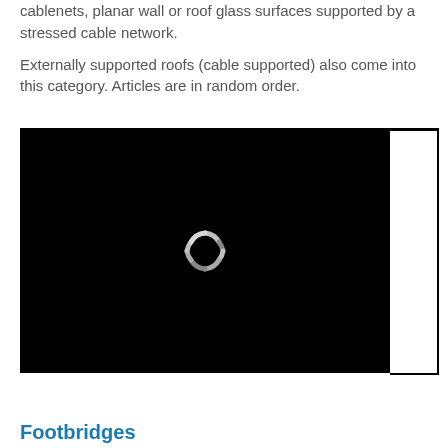Prestressed structures may include saddle shaped cablenets, planar wall or roof glass surfaces supported by a stressed cable network. Externally supported roofs (cable supported) also come into this category. Articles are in random order.
[Figure (screenshot): Black video/media player area with a loading spinner icon (circular segmented spinner in gray/white) centered in the frame. There is a partial border outline visible to the right of the black area.]
Footbridges